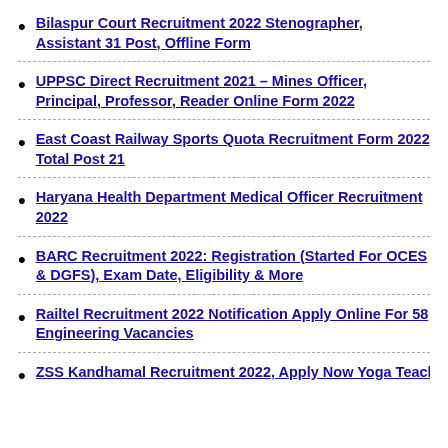Bilaspur Court Recruitment 2022 Stenographer, Assistant 31 Post, Offline Form
UPPSC Direct Recruitment 2021 – Mines Officer, Principal, Professor, Reader Online Form 2022
East Coast Railway Sports Quota Recruitment Form 2022 Total Post 21
Haryana Health Department Medical Officer Recruitment 2022
BARC Recruitment 2022: Registration (Started For OCES & DGFS), Exam Date, Eligibility & More
Railtel Recruitment 2022 Notification Apply Online For 58 Engineering Vacancies
ZSS Kandhamal Recruitment 2022, Apply Now Yoga Teacher 80